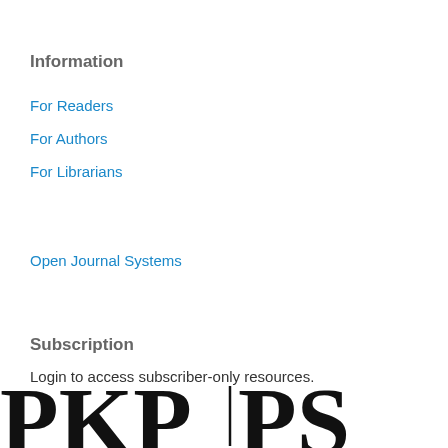Information
For Readers
For Authors
For Librarians
Open Journal Systems
Subscription
Login to access subscriber-only resources.
[Figure (logo): PKP|PS logo partial view at bottom of page]